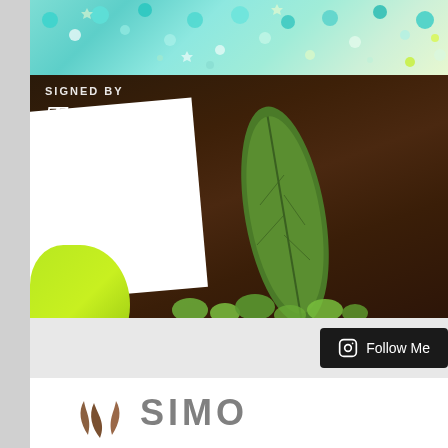[Figure (photo): Close-up photo of a handmade shaker card with turquoise sequins and gems along the top strip, dark brown leather/felt background, green botanical leaves, lime green paper element, and white card layer. Text overlay reads 'DESIGNED BY Trapani FOR Say Stamp' in white script and sans-serif fonts.]
Follow Me
[Figure (logo): Simon Says Stamp logo — brown flame/leaf icon followed by partial text 'SIMO' in large gray bold uppercase letters]